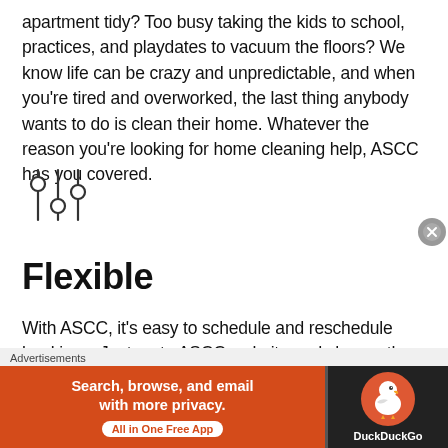apartment tidy? Too busy taking the kids to school, practices, and playdates to vacuum the floors? We know life can be crazy and unpredictable, and when you're tired and overworked, the last thing anybody wants to do is clean their home. Whatever the reason you're looking for home cleaning help, ASCC has you covered.
[Figure (other): Filter/settings sliders icon — two vertical lines with circular handles at different heights]
Flexible
With ASCC, it's easy to schedule and reschedule bookings. Just go to ASCC website and choose the date and time that works best for you. Or maybe your home needs an extra deep clean with some special attention – you can use
[Figure (other): DuckDuckGo advertisement banner: 'Search, browse, and email with more privacy. All in One Free App' with DuckDuckGo logo on dark background]